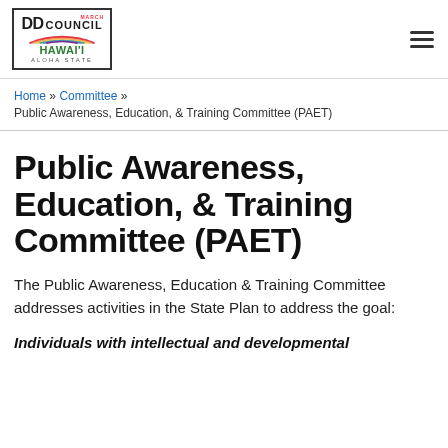[Figure (logo): DD Council Hawai'i Aloha State logo with rainbow graphic inside a bordered box]
Home » Committee » Public Awareness, Education, & Training Committee (PAET)
Public Awareness, Education, & Training Committee (PAET)
The Public Awareness, Education & Training Committee addresses activities in the State Plan to address the goal:
Individuals with intellectual and developmental